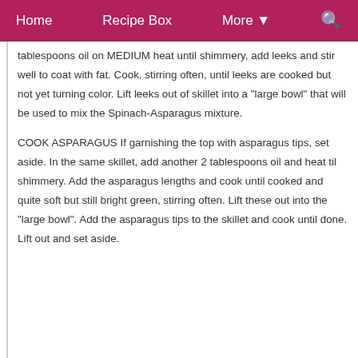Home   Recipe Box   More ▼   🔍
tablespoons oil on MEDIUM heat until shimmery, add leeks and stir well to coat with fat. Cook, stirring often, until leeks are cooked but not yet turning color. Lift leeks out of skillet into a "large bowl" that will be used to mix the Spinach-Asparagus mixture.
COOK ASPARAGUS If garnishing the top with asparagus tips, set aside. In the same skillet, add another 2 tablespoons oil and heat til shimmery. Add the asparagus lengths and cook until cooked and quite soft but still bright green, stirring often. Lift these out into the "large bowl". Add the asparagus tips to the skillet and cook until done. Lift out and set aside.